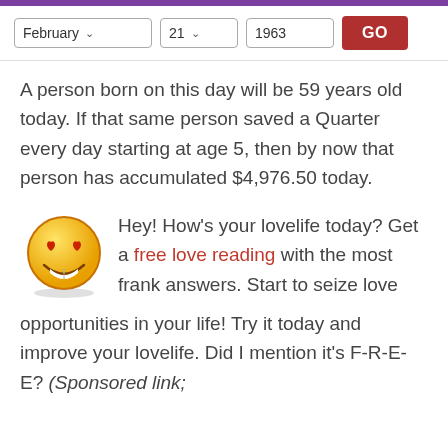February  21  1963  GO
A person born on this day will be 59 years old today. If that same person saved a Quarter every day starting at age 5, then by now that person has accumulated $4,976.50 today.
[Figure (illustration): Yellow smiley face emoji with heart-shaped red eyes and a big smile]
Hey! How’s your lovelife today? Get a free love reading with the most frank answers. Start to seize love opportunities in your life! Try it today and improve your lovelife. Did I mention it’s F-R-E-E? (Sponsored link;